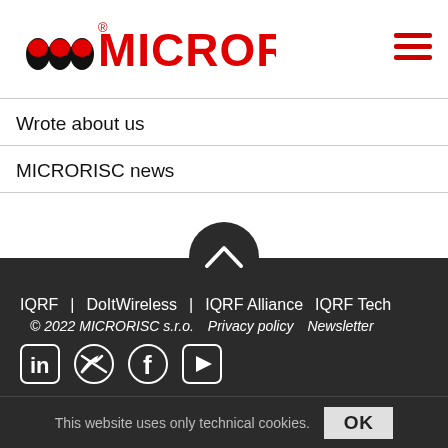[Figure (logo): MICRORISC red logo with stylized M icon and text MICRORISC in bold red]
Wrote about us
MICRORISC news
IQRF | DoItWireless | IQRF Alliance | IQRF Tech
© 2022 MICRORISC s.r.o.  Privacy policy  Newsletter
This website uses only technical cookies.